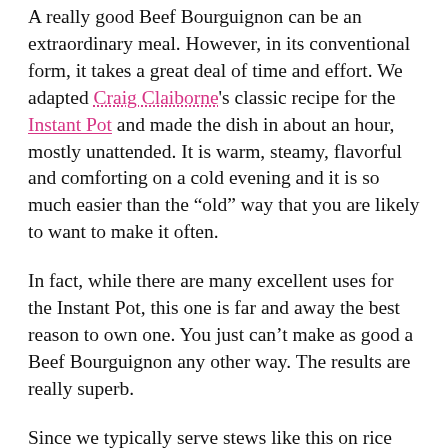A really good Beef Bourguignon can be an extraordinary meal. However, in its conventional form, it takes a great deal of time and effort. We adapted Craig Claiborne's classic recipe for the Instant Pot and made the dish in about an hour, mostly unattended. It is warm, steamy, flavorful and comforting on a cold evening and it is so much easier than the “old” way that you are likely to want to make it often.
In fact, while there are many excellent uses for the Instant Pot, this one is far and away the best reason to own one. You just can’t make as good a Beef Bourguignon any other way. The results are really superb.
Since we typically serve stews like this on rice (you could use noodles if you prefer), we made the rice in the Instant Pot while we were browning the meat and vegetables, and then we kept the rice warm in a covered dish in a warm